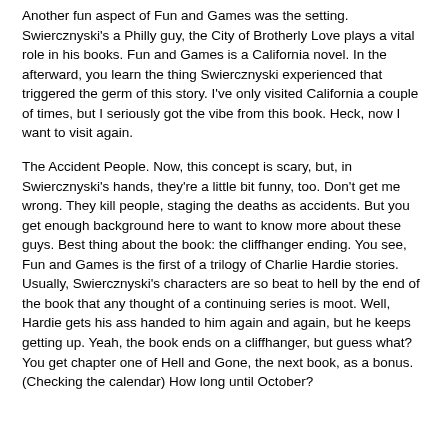Another fun aspect of Fun and Games was the setting. Swiercznyski's a Philly guy, the City of Brotherly Love plays a vital role in his books. Fun and Games is a California novel. In the afterward, you learn the thing Swiercznyski experienced that triggered the germ of this story. I've only visited California a couple of times, but I seriously got the vibe from this book. Heck, now I want to visit again.
The Accident People. Now, this concept is scary, but, in Swiercznyski's hands, they're a little bit funny, too. Don't get me wrong. They kill people, staging the deaths as accidents. But you get enough background here to want to know more about these guys. Best thing about the book: the cliffhanger ending. You see, Fun and Games is the first of a trilogy of Charlie Hardie stories. Usually, Swiercznyski's characters are so beat to hell by the end of the book that any thought of a continuing series is moot. Well, Hardie gets his ass handed to him again and again, but he keeps getting up. Yeah, the book ends on a cliffhanger, but guess what? You get chapter one of Hell and Gone, the next book, as a bonus. (Checking the calendar) How long until October?